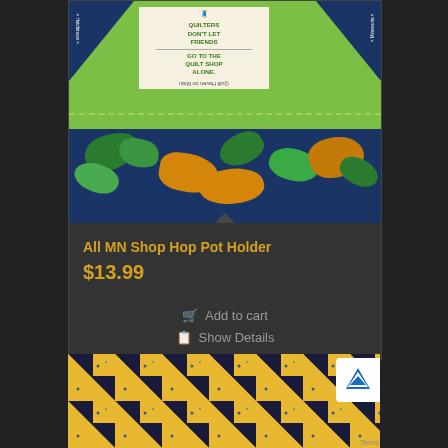[Figure (photo): Quilt pot holder showing green polka-dot fabric with navy blue tropical leaf fabric and a white label reading 'QUILTERS DON'T LET FRIENDS GO TO THE QUILT SHOP ALONE.' with text 'Quilt Haven on Main' and 'Hutchinson, Minnesota']
All MN Shop Hop Pot Holder
$13.99
Add to cart
Show Details
[Figure (photo): Quilt pattern showing yellow/gold fabric with black triangular patchwork pieces forming a geometric pattern]